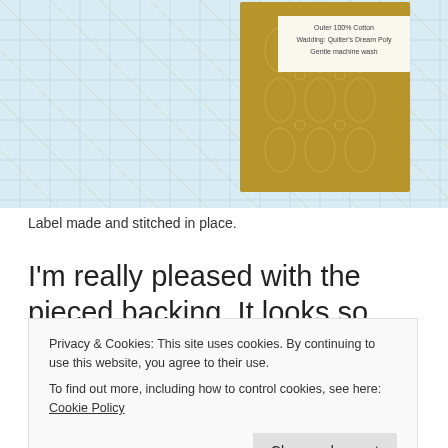[Figure (photo): A quilt with a light blue plaid fabric background and a golden/olive patterned fabric square in the center. A small white label is stitched onto the golden fabric with text indicating fabric care instructions.]
Label made and stitched in place.
I'm really pleased with the pieced backing. It looks so simple yet it took me well over two hours to select the fabrics, cut them to size and stitch those l-o-n-g seams! I had a
Privacy & Cookies: This site uses cookies. By continuing to use this website, you agree to their use.
To find out more, including how to control cookies, see here: Cookie Policy
takes to make a quilt! I guess when we make a few blocks here, a few blocks there and